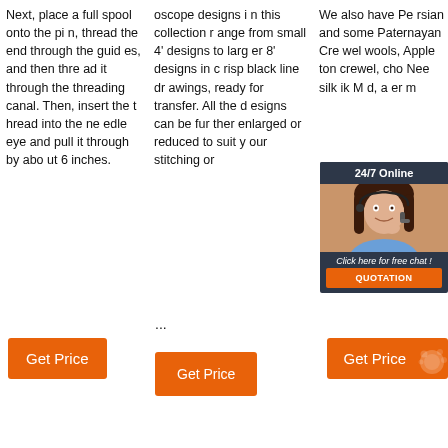Next, place a full spool onto the pin, thread the end through the guides, and then thread it through the threading canal. Then, insert the thread into the needle eye and pull it through by about 6 inches.
oscope designs in this collection range from small 4' designs to larger 8' designs in crisp black line drawings, ready for transfer. All the designs can be further enlarged or reduced to suit your stitching or ...
We also have Persian and some Paternayan Crewel wools, Apple ton crewel, choices. Needle silk, ik Mak d, a er m
[Figure (screenshot): Live chat widget with 24/7 Online header, photo of woman with headset, Click here for free chat text, and QUOTATION button]
...
Get Price
Get Price
Get Price